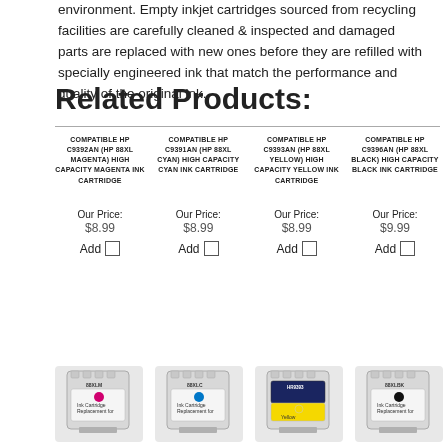environment. Empty inkjet cartridges sourced from recycling facilities are carefully cleaned & inspected and damaged parts are replaced with new ones before they are refilled with specially engineered ink that match the performance and quality of the original ink.
Related Products:
| Product 1 | Product 2 | Product 3 | Product 4 |
| --- | --- | --- | --- |
| COMPATIBLE HP C9392AN (HP 88XL MAGENTA) HIGH CAPACITY MAGENTA INK CARTRIDGE | COMPATIBLE HP C9391AN (HP 88XL CYAN) HIGH CAPACITY CYAN INK CARTRIDGE | COMPATIBLE HP C9393AN (HP 88XL YELLOW) HIGH CAPACITY YELLOW INK CARTRIDGE | COMPATIBLE HP C9396AN (HP 88XL BLACK) HIGH CAPACITY BLACK INK CARTRIDGE |
| Our Price: $8.99 | Our Price: $8.99 | Our Price: $8.99 | Our Price: $9.99 |
| Add □ | Add □ | Add □ | Add □ |
[Figure (photo): Four HP 88XL ink cartridge replacements: magenta (88XLM), cyan (88XLC), yellow (HR9393), and black (88XLBK)]